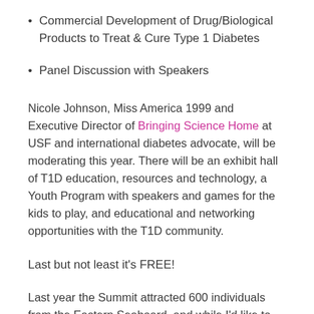Commercial Development of Drug/Biological Products to Treat & Cure Type 1 Diabetes
Panel Discussion with Speakers
Nicole Johnson, Miss America 1999 and Executive Director of Bringing Science Home at USF and international diabetes advocate, will be moderating this year. There will be an exhibit hall of T1D education, resources and technology, a Youth Program with speakers and games for the kids to play, and educational and networking opportunities with the T1D community.
Last but not least it’s FREE!
Last year the Summit attracted 600 individuals from the Eastern Seaboard, and while I’d like to think it was